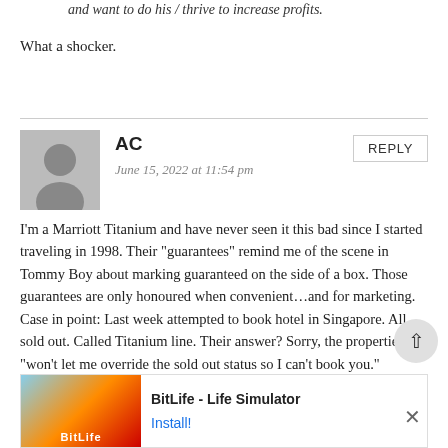and want to do his / thrive to increase profits.
What a shocker.
[Figure (illustration): Generic user avatar silhouette in gray circle on gray background]
AC
June 15, 2022 at 11:54 pm
REPLY
I'm a Marriott Titanium and have never seen it this bad since I started traveling in 1998. Their “guarantees” remind me of the scene in Tommy Boy about marking guaranteed on the side of a box. Those guarantees are only honoured when convenient…and for marketing. Case in point: Last week attempted to book hotel in Singapore. All sold out. Called Titanium line. Their answer? Sorry, the properties “won’t let me override the sold out status so I can’t book you.” Hmmm…not so guaranteed. And prior to calling I actually got the hotel to send me in-writing that there were no special events during my desired booking days. I filed a complaint. The response: It looks like you booked a different hotel so you’re all good, you have a room to stay in. Makes me want to status match to a different chain. Although the grass is never greener
[Figure (other): Advertisement banner for BitLife - Life Simulator app with Install button]